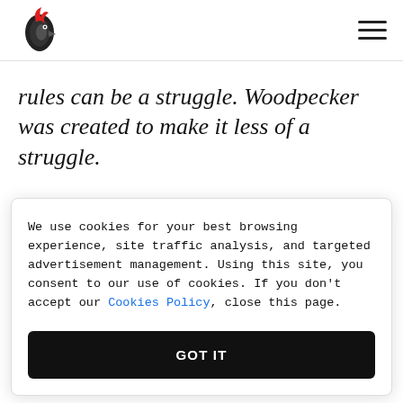Woodpecker logo and navigation
rules can be a struggle. Woodpecker was created to make it less of a struggle.
We use cookies for your best browsing experience, site traffic analysis, and targeted advertisement management. Using this site, you consent to our use of cookies. If you don't accept our Cookies Policy, close this page.
GOT IT
they are and help you reach them. Ask us a